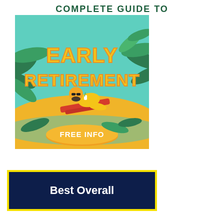COMPLETE GUIDE TO
[Figure (illustration): Advertisement graphic for 'Complete Guide to Early Retirement' showing a man relaxing on a beach chair under tropical plants with text 'EARLY RETIREMENT' in large yellow letters and a 'FREE INFO' button at the bottom]
[Figure (infographic): Yellow-bordered box with dark navy background containing white bold text 'Best Overall']